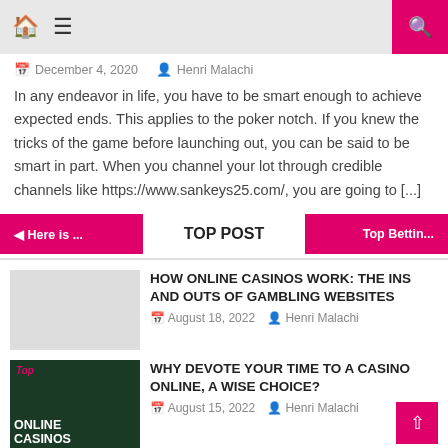Home | Menu | Search
December 4, 2020  Henri Malachi
In any endeavor in life, you have to be smart enough to achieve expected ends. This applies to the poker notch. If you knew the tricks of the game before launching out, you can be said to be smart in part. When you channel your lot through credible channels like https://www.sankeys25.com/, you are going to [...]
◄ Here is ...    TOP POST    Top Bettin...
TOP POST
HOW ONLINE CASINOS WORK: THE INS AND OUTS OF GAMBLING WEBSITES
August 18, 2022  Henri Malachi
[Figure (photo): Online casinos thumbnail with text 'Top Online Casinos' on dark background]
WHY DEVOTE YOUR TIME TO A CASINO ONLINE, A WISE CHOICE?
August 15, 2022  Henri Malachi